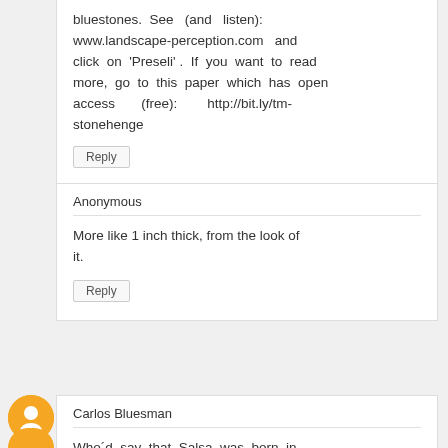bluestones. See (and listen): www.landscape-perception.com and click on 'Preseli' . If you want to read more, go to this paper which has open access (free): http://bit.ly/tm-stonehenge
Reply
Anonymous
More like 1 inch thick, from the look of it.
Reply
Carlos Bluesman
Who´d say that Salsa was born in Siberia! :v
Reply